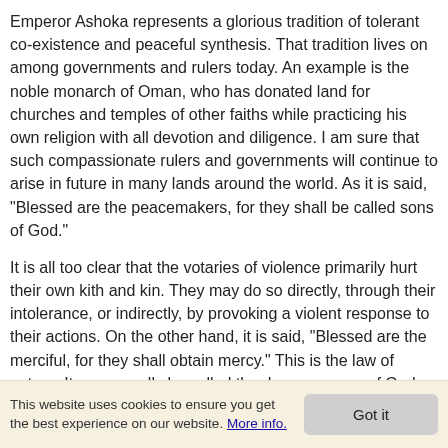Emperor Ashoka represents a glorious tradition of tolerant co-existence and peaceful synthesis. That tradition lives on among governments and rulers today. An example is the noble monarch of Oman, who has donated land for churches and temples of other faiths while practicing his own religion with all devotion and diligence. I am sure that such compassionate rulers and governments will continue to arise in future in many lands around the world. As it is said, "Blessed are the peacemakers, for they shall be called sons of God."
It is all too clear that the votaries of violence primarily hurt their own kith and kin. They may do so directly, through their intolerance, or indirectly, by provoking a violent response to their actions. On the other hand, it is said, "Blessed are the merciful, for they shall obtain mercy." This is the law of nature. It may equally be called the decree or way of God. The Buddha said, "Animosity can be eradicated not by animosity but only by its opposite. This is an eternal Dharma [spiritual law]." What is called Dharma in India has nothing to do with Hinduism, Buddhism, Jainism, Christianity, Islam, Judaism, Sikhism or any other "ism". It is this simple truth: before you harm others, you
This website uses cookies to ensure you get the best experience on our website. More info. Got it